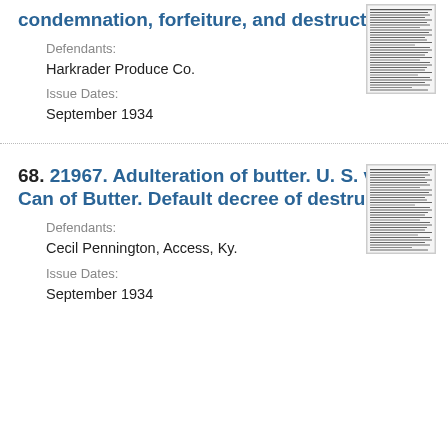condemnation, forfeiture, and destruction.
Defendants:
Harkrader Produce Co.
Issue Dates:
September 1934
[Figure (other): Thumbnail image of a legal document page with dense text]
68. 21967. Adulteration of butter. U. S. v. 1 Can of Butter. Default decree of destruction.
Defendants:
Cecil Pennington, Access, Ky.
Issue Dates:
September 1934
[Figure (other): Thumbnail image of a legal document page with dense text]